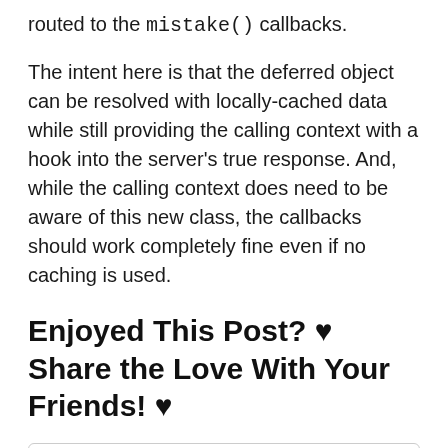routed to the mistake() callbacks.
The intent here is that the deferred object can be resolved with locally-cached data while still providing the calling context with a hook into the server's true response. And, while the calling context does need to be aware of this new class, the callbacks should work completely fine even if no caching is used.
Enjoyed This Post? ♥ Share the Love With Your Friends! ♥
Great article by @BenNadel - Resolving An AngularJS Deferred Object Twice With